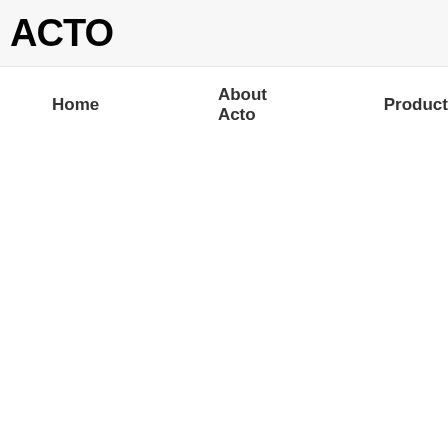ACTO
Home    About Acto    Product